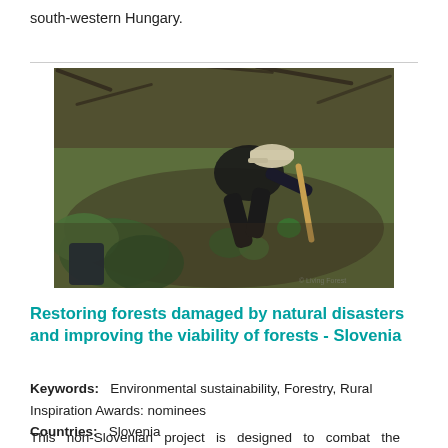south-western Hungary.
[Figure (photo): A person wearing dark clothing and a light-colored cap bends over to plant or tend to a small tree seedling among brush and natural debris in a forest restoration scene.]
Restoring forests damaged by natural disasters and improving the viability of forests - Slovenia
Keywords:   Environmental sustainability, Forestry, Rural Inspiration Awards: nominees
Countries:   Slovenia
This non-Slovenian project is designed to combat the